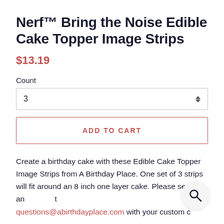Nerf™ Bring the Noise Edible Cake Topper Image Strips
$13.19
Count
3
ADD TO CART
Create a birthday cake with these Edible Cake Topper Image Strips from A Birthday Place. One set of 3 strips will fit around an 8 inch one layer cake. Please send us an t questions@abirthdayplace.com with your custom c